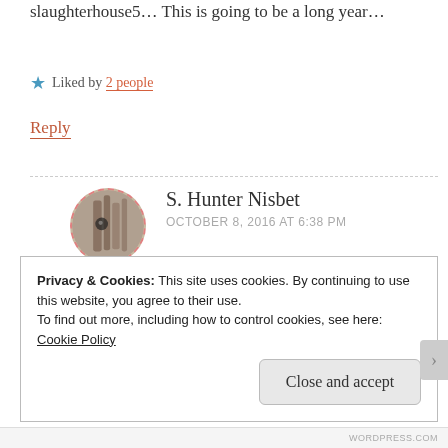slaughterhouse5... This is going to be a long year...
★ Liked by 2 people
Reply
S. Hunter Nisbet
OCTOBER 8, 2016 AT 6:38 PM
Where are you going to high school? US?
Privacy & Cookies: This site uses cookies. By continuing to use this website, you agree to their use.
To find out more, including how to control cookies, see here: Cookie Policy
Close and accept